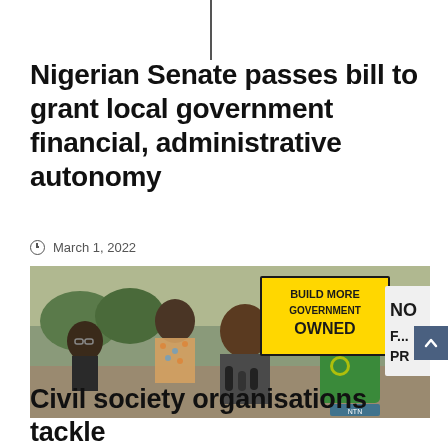Nigerian Senate passes bill to grant local government financial, administrative autonomy
March 1, 2022
[Figure (photo): Group of people at an outdoor protest or press conference, with protest signs visible including 'BUILD MORE GOVERNMENT OWNED' and 'NO... PR...'. A man in a green polo shirt wearing a red hat stands on the right. Several people are speaking into microphones.]
Civil society organisations tackle